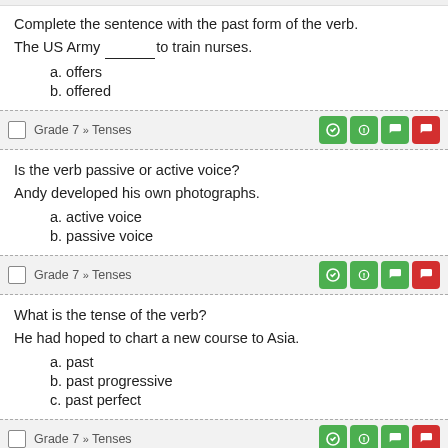Complete the sentence with the past form of the verb.
The US Army _______ to train nurses.
a. offers
b. offered
Grade 7 » Tenses
Is the verb passive or active voice?
Andy developed his own photographs.
a. active voice
b. passive voice
Grade 7 » Tenses
What is the tense of the verb?
He had hoped to chart a new course to Asia.
a. past
b. past progressive
c. past perfect
Grade 7 » Tenses
Complete the sentence with the past form of the verb.